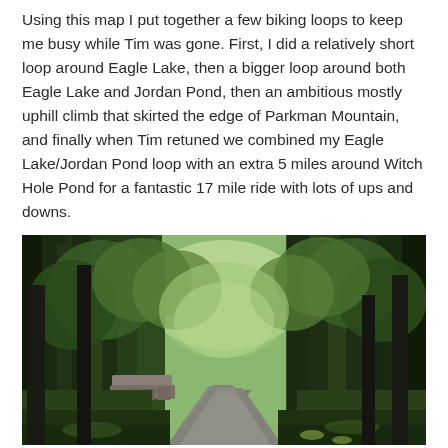Using this map I put together a few biking loops to keep me busy while Tim was gone. First, I did a relatively short loop around Eagle Lake, then a bigger loop around both Eagle Lake and Jordan Pond, then an ambitious mostly uphill climb that skirted the edge of Parkman Mountain, and finally when Tim retuned we combined my Eagle Lake/Jordan Pond loop with an extra 5 miles around Witch Hole Pond for a fantastic 17 mile ride with lots of ups and downs.
[Figure (photo): A forested carriage road or path winding through dense green trees, with a stone boundary on the left side. The scene is lush and green with tall conifers and deciduous trees forming a canopy overhead. The road curves gently to the right in the distance.]